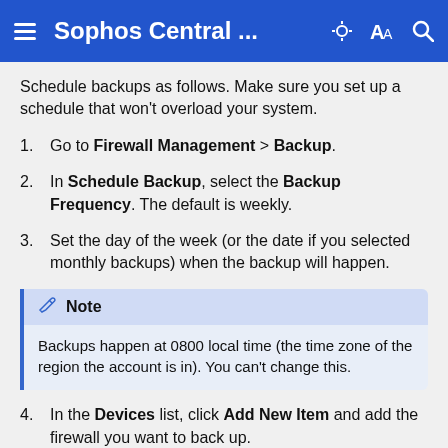Sophos Central ...
Schedule backups as follows. Make sure you set up a schedule that won't overload your system.
Go to Firewall Management > Backup.
In Schedule Backup, select the Backup Frequency. The default is weekly.
Set the day of the week (or the date if you selected monthly backups) when the backup will happen.
Note: Backups happen at 0800 local time (the time zone of the region the account is in). You can't change this.
In the Devices list, click Add New Item and add the firewall you want to back up.
Click Save.